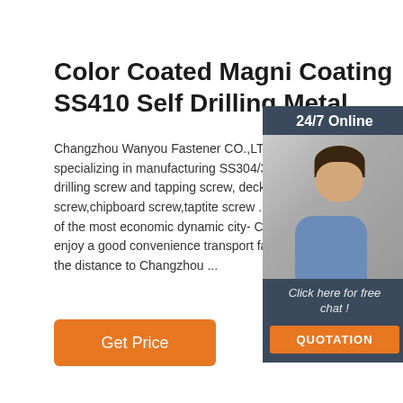Color Coated Magni Coating SS410 Self Drilling Metal .
Changzhou Wanyou Fastener CO.,LTD,a fac specializing in manufacturing SS304/316/410 drilling screw and tapping screw, decking scr screw,chipboard screw,taptite screw . Locate of the most economic dynamic city- Changzh enjoy a good convenience transport facilities the distance to Changzhou ...
[Figure (photo): 24/7 Online customer service panel showing a woman with headset smiling, with 'Click here for free chat!' text and an orange QUOTATION button on dark blue background]
Get Price